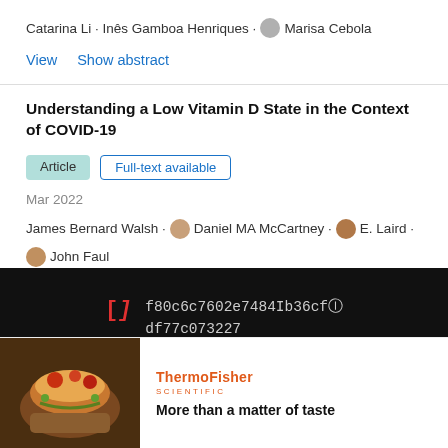Catarina Li · Inês Gamboa Henriques · Marisa Cebola
View   Show abstract
Understanding a Low Vitamin D State in the Context of COVID-19
Article   Full-text available
Mar 2022
James Bernard Walsh · Daniel MA McCartney · E. Laird · John Faul
[Figure (screenshot): Dark overlay bar showing a hash/token string: f80c6c7602e7484Ib36cf df77c073227 with a bracket icon [I] and close button]
[Figure (photo): Advertisement image showing food (burger/seafood) with Thermo Fisher Scientific logo and tagline 'More than a matter of taste']